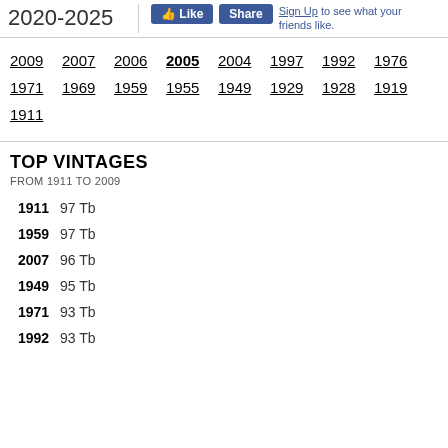2020-2025
Sign Up to see what your friends like.
2009  2007  2006  2005  2004  1997  1992  1976
1971  1969  1959  1955  1949  1929  1928  1919
1911
TOP VINTAGES
FROM 1911 TO 2009
1911  97 Tb
1959  97 Tb
2007  96 Tb
1949  95 Tb
1971  93 Tb
1992  93 Tb